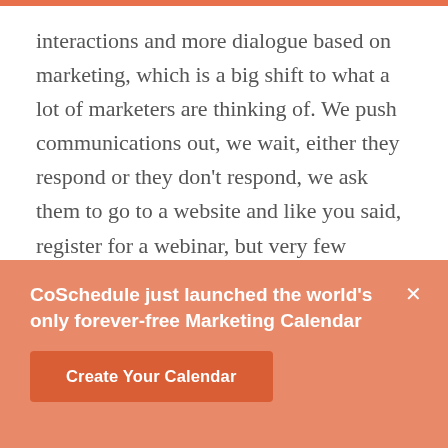interactions and more dialogue based on marketing, which is a big shift to what a lot of marketers are thinking of. We push communications out, we wait, either they respond or they don't respond, we ask them to go to a website and like you said, register for a webinar, but very few communications are real-time dialogues. That's a different way of thinking for a lot of marketers to wrap their heads around to think about marketing in that way, to create experiences that are like that, and to know that. This scaling-wise, I don't have people to do this. That's
CoSchedule just launched the world's only forever-free Marketing Calendar
Create Your Calendar